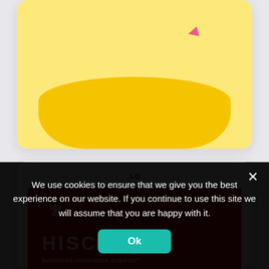[Figure (illustration): Partial view of a card with yellow background illustration showing a yellow blob/liquid shape and a pink cursor/hand icon, suggesting an interactive interface mockup.]
AD
[Figure (logo): Hiscox business insurance experts logo on a red background. Features a white fleur-de-lis symbol above the HISCOX wordmark in large white letters, with tagline 'business insurance experts*' below in smaller white text.]
We use cookies to ensure that we give you the best experience on our website. If you continue to use this site we will assume that you are happy with it.